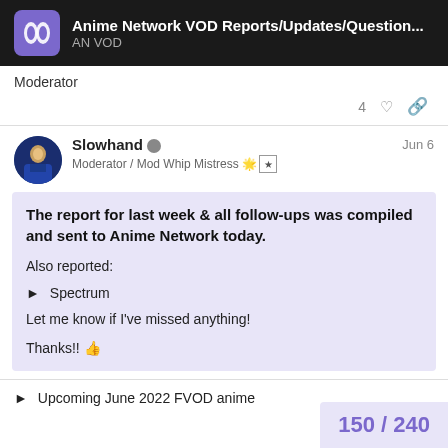Anime Network VOD Reports/Updates/Question... | AN VOD
Moderator
4 ♡ 🔗
Slowhand 🛡 | Moderator / Mod Whip Mistress 🌟 | Jun 6
The report for last week & all follow-ups was compiled and sent to Anime Network today.

Also reported:

► Spectrum

Let me know if I've missed anything!

Thanks!! 👍
► Upcoming June 2022 FVOD anime
150 / 240